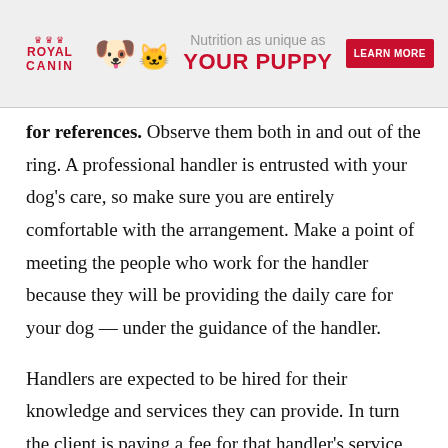[Figure (other): Royal Canin advertisement banner showing logo, puppy and kitten photos, tagline 'Nutrition as unique as YOUR PUPPY', and a red 'LEARN MORE' button]
for references. Observe them both in and out of the ring. A professional handler is entrusted with your dog’s care, so make sure you are entirely comfortable with the arrangement. Make a point of meeting the people who work for the handler because they will be providing the daily care for your dog — under the guidance of the handler.
Handlers are expected to be hired for their knowledge and services they can provide. In turn the client is paying a fee for that handler’s service and expertise. You and your handler should have the terms of your agreement in writing. Make sure if you have any questions that they are answered before you commit yourself to a contract. Read the contract